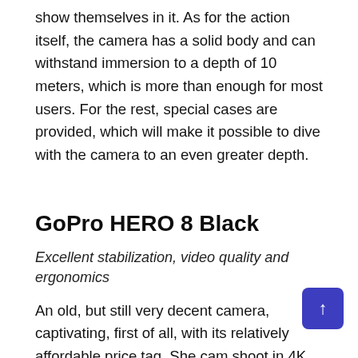show themselves in it. As for the action itself, the camera has a solid body and can withstand immersion to a depth of 10 meters, which is more than enough for most users. For the rest, special cases are provided, which will make it possible to dive with the camera to an even greater depth.
GoPro HERO 8 Black
Excellent stabilization, video quality and ergonomics
An old, but still very decent camera, captivating, first of all, with its relatively affordable price tag. She can shoot in 4K resolution at 60 frames per second and Full HD at 240 fps. TimeWarp 2.0 video acceleration function has